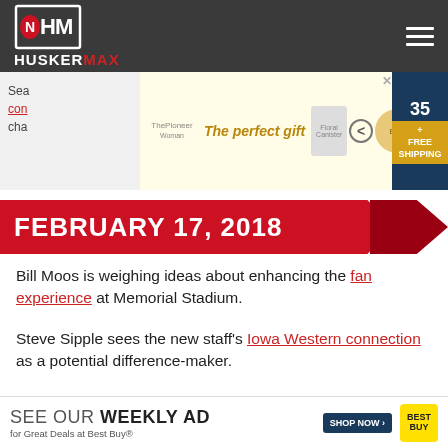HUSKERMAX
[Figure (other): Advertisement banner: The perfect gift - cookware promotion with navigation arrows and Free Shipping offer]
FEBRUARY 17, 2018
Bill Moos is weighing ideas about enhancing the fan experience at Memorial Stadium.
Steve Sipple sees the new staff's Iowa Western connection as a potential difference-maker.
Transfer quarterback Noah Vedral is serving as valuable resource for Nebraska's QBs.
Northern Iowa is where the chemistry of some of the Huskers...
[Figure (other): Best Buy advertisement: SEE OUR WEEKLY AD for Great Deals at Best Buy - Shop Now button]